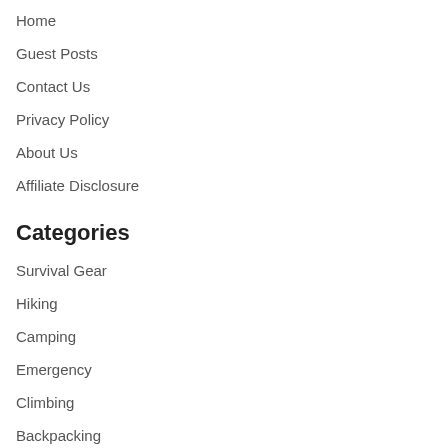Home
Guest Posts
Contact Us
Privacy Policy
About Us
Affiliate Disclosure
Categories
Survival Gear
Hiking
Camping
Emergency
Climbing
Backpacking